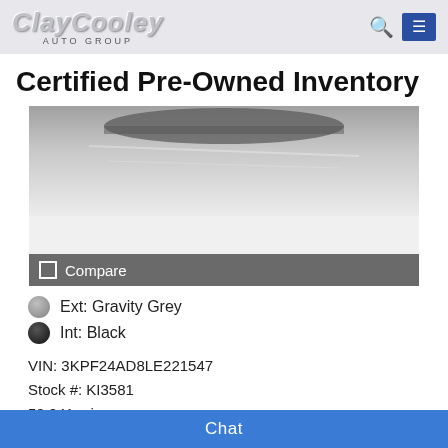Clay Cooley Auto Group
Certified Pre-Owned Inventory
[Figure (photo): Partial top-down or angled view of a grey vehicle roof/windshield area in black and white]
Compare
Ext: Gravity Grey
Int: Black
VIN: 3KPF24AD8LE221547
Stock #: KI3581
50,041 mi.
[Figure (logo): MotorTrend Certified Vehicle badge]
[Figure (photo): Clay Cooley Auto Group image with three men in suits and American/Texas flags]
Chat